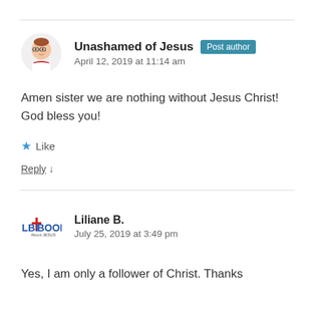Unashamed of Jesus  Post author
April 12, 2019 at 11:14 am
Amen sister we are nothing without Jesus Christ! God bless you!
Like
Reply ↓
Liliane B.
July 25, 2019 at 3:49 pm
Yes, I am only a follower of Christ. Thanks